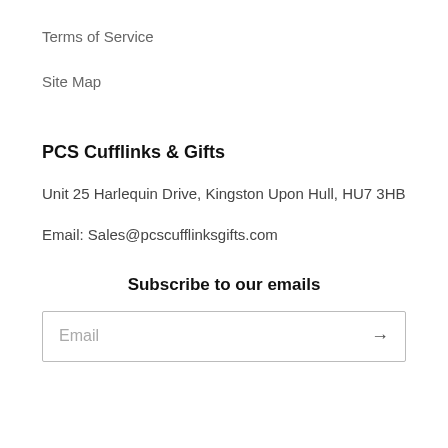Terms of Service
Site Map
PCS Cufflinks & Gifts
Unit 25 Harlequin Drive, Kingston Upon Hull, HU7 3HB
Email: Sales@pcscufflinksgifts.com
Subscribe to our emails
Email